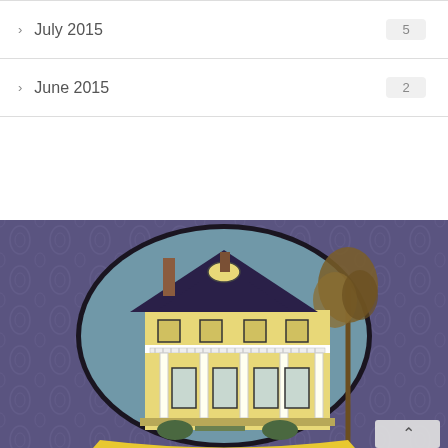July 2015  5
June 2015  2
[Figure (illustration): Illustrated logo of a large yellow Victorian house with a dark roof, front porch with columns, a balcony, chimneys, and a tree to the right, set inside a dark oval frame, on a purple damask patterned background. A yellow banner is partially visible at the bottom.]